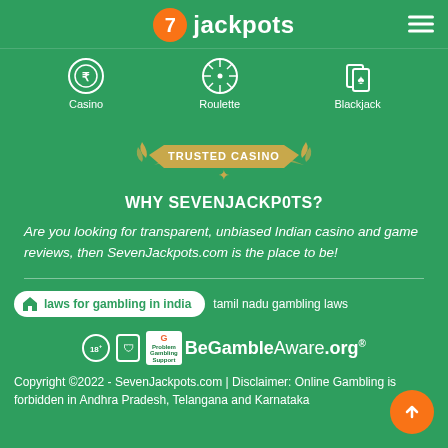7jackpots
[Figure (logo): Navigation icons: Casino (chip with rupee), Roulette (wheel), Blackjack (cards)]
[Figure (illustration): Trusted Casino badge/ribbon illustration in gold]
WHY SEVENJACKPOTS?
Are you looking for transparent, unbiased Indian casino and game reviews, then SevenJackpots.com is the place to be!
laws for gambling in india  tamil nadu gambling laws
[Figure (logo): 18+ badge, GamCare problem gambling support logo, BeGambleAware.org logo]
Copyright ©2022 - SevenJackpots.com | Disclaimer: Online Gambling is forbidden in Andhra Pradesh, Telangana and Karnataka